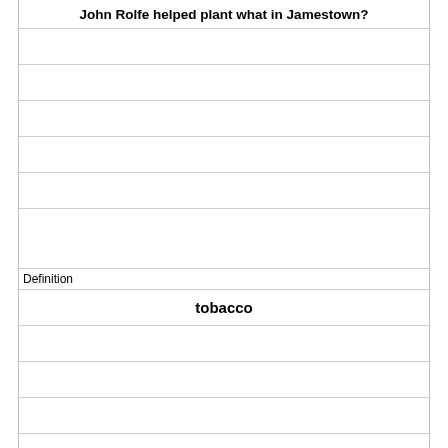John Rolfe helped plant what in Jamestown?
Definition
tobacco
Term